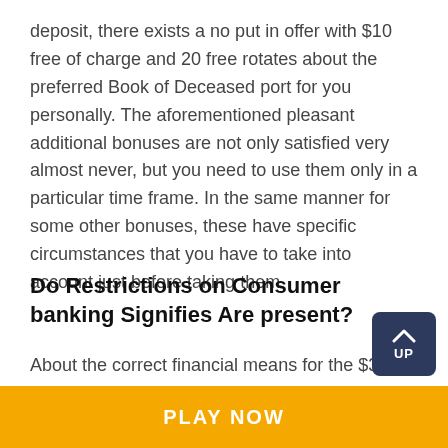deposit, there exists a no put in offer with $10 free of charge and 20 free rotates about the preferred Book of Deceased port for you personally. The aforementioned pleasant additional bonuses are not only satisfied very almost never, but you need to use them only in a particular time frame. In the same manner for some other bonuses, these have specific circumstances that you have to take into account just before taking them.
Do Restrictions on Consumer banking Signifies Are present?
About the correct financial means for the $3 minimum deposit casino Canada, there is not any need to be concerned about nearly anything. A $3 on line casino normally comes with a minimum down payment of th for some of the settlement means. If there is an exclusion